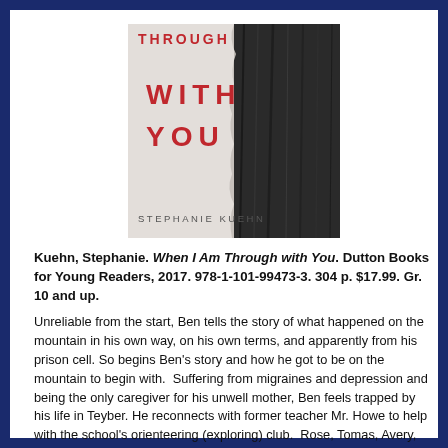[Figure (illustration): Book cover of 'When I Am Through with You' by Stephanie Kuehn. The cover shows partial text 'WITH YOU' in large red letters on a white/gray background, with the right half showing a dark rocky or bark texture. Author name 'STEPHANIE KUEHN' appears at the bottom.]
Kuehn, Stephanie. When I Am Through with You. Dutton Books for Young Readers, 2017. 978-1-101-99473-3. 304 p. $17.99. Gr. 10 and up.
Unreliable from the start, Ben tells the story of what happened on the mountain in his own way, on his own terms, and apparently from his prison cell. So begins Ben's story and how he got to be on the mountain to begin with.  Suffering from migraines and depression and being the only caregiver for his unwell mother, Ben feels trapped by his life in Teyber. He reconnects with former teacher Mr. Howe to help with the school's orienteering (exploring) club.  Rose, Tomas, Avery,